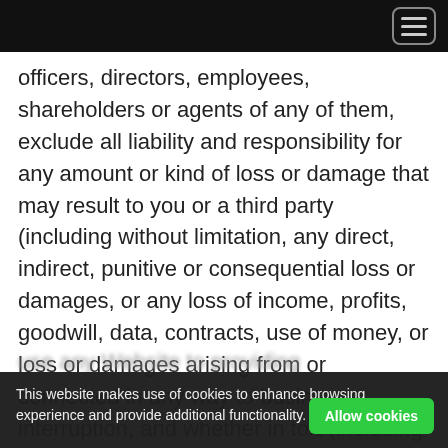officers, directors, employees, shareholders or agents of any of them, exclude all liability and responsibility for any amount or kind of loss or damage that may result to you or a third party (including without limitation, any direct, indirect, punitive or consequential loss or damages, or any loss of income, profits, goodwill, data, contracts, use of money, or loss or damages arising from or connected in any way to business interruption, and whether in tort (including without limitation negligence), contract or otherwise) in connection with this Website in any way or in connection with
This website makes use of cookies to enhance browsing experience and provide additional functionality. Details
use any Website to providing